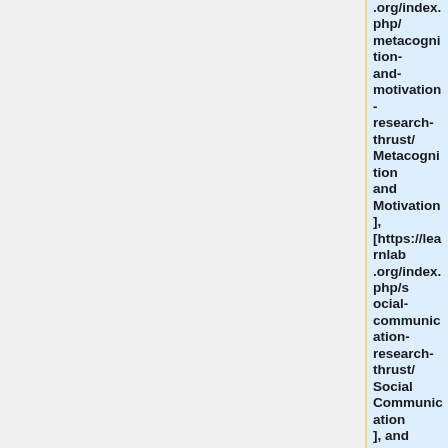.org/index.php/metacognition-and-motivation-research-thrust/ Metacognition and Motivation], [https://learnlab.org/index.php/social-communication-research-thrust/ Social Communication], and [https://learnlab.org/index.php/computational-modeling-and-data-mining-research-thrust/ Computational Modeling and Data Mining],